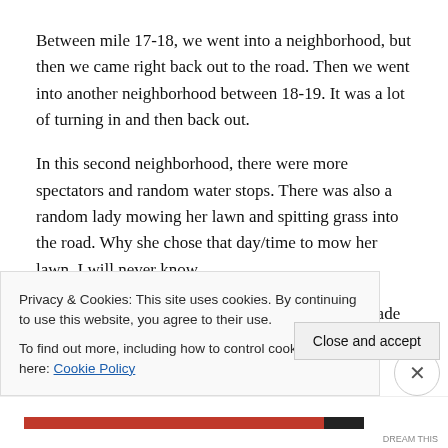Between mile 17-18, we went into a neighborhood, but then we came right back out to the road. Then we went into another neighborhood between 18-19. It was a lot of turning in and then back out.
In this second neighborhood, there were more spectators and random water stops. There was also a random lady mowing her lawn and spitting grass into the road. Why she chose that day/time to mow her lawn, I will never know.
After her, we encountered a guy hoating a homemade
Privacy & Cookies: This site uses cookies. By continuing to use this website, you agree to their use.
To find out more, including how to control cookies, see here: Cookie Policy
Close and accept